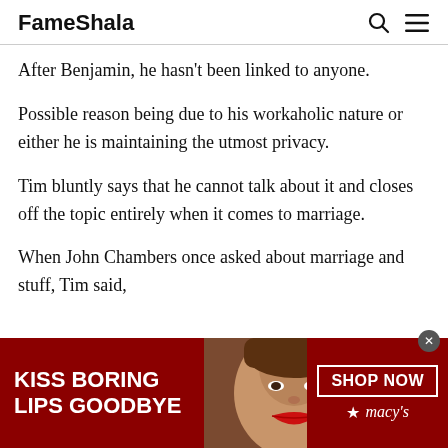FameShala
After Benjamin, he hasn't been linked to anyone.
Possible reason being due to his workaholic nature or either he is maintaining the utmost privacy.
Tim bluntly says that he cannot talk about it and closes off the topic entirely when it comes to marriage.
When John Chambers once asked about marriage and stuff, Tim said,
[Figure (photo): Advertisement banner for Macy's lipstick promotion: dark red background with model showing red lips, text 'KISS BORING LIPS GOODBYE' on left, 'SHOP NOW' button and macy's star logo on right.]